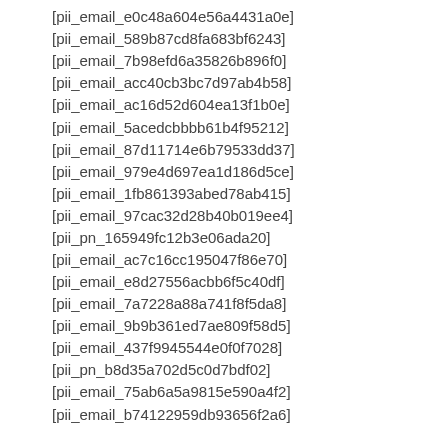[pii_email_e0c48a604e56a4431a0e]
[pii_email_589b87cd8fa683bf6243]
[pii_email_7b98efd6a35826b896f0]
[pii_email_acc40cb3bc7d97ab4b58]
[pii_email_ac16d52d604ea13f1b0e]
[pii_email_5acedcbbbb61b4f95212]
[pii_email_87d11714e6b79533dd37]
[pii_email_979e4d697ea1d186d5ce]
[pii_email_1fb861393abed78ab415]
[pii_email_97cac32d28b40b019ee4]
[pii_pn_165949fc12b3e06ada20]
[pii_email_ac7c16cc195047f86e70]
[pii_email_e8d27556acbb6f5c40df]
[pii_email_7a7228a88a741f8f5da8]
[pii_email_9b9b361ed7ae809f58d5]
[pii_email_437f9945544e0f0f7028]
[pii_pn_b8d35a702d5c0d7bdf02]
[pii_email_75ab6a5a9815e590a4f2]
[pii_email_b74122959db93656f2a6]